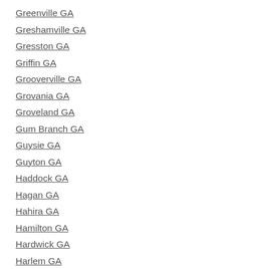Greenville GA
Greshamville GA
Gresston GA
Griffin GA
Grooverville GA
Grovania GA
Groveland GA
Gum Branch GA
Guysie GA
Guyton GA
Haddock GA
Hagan GA
Hahira GA
Hamilton GA
Hardwick GA
Harlem GA
Harrington GA
Harris City GA
Harris Neck GA